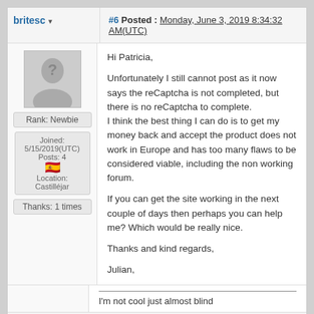britesc ▾
#6 Posted : Monday, June 3, 2019 8:34:32 AM(UTC)
[Figure (illustration): Generic user avatar silhouette with question mark on gray background]
Rank: Newbie
Joined: 5/15/2019(UTC)
Posts: 4
🇪🇸
Location: Castilléjar
Thanks: 1 times
Hi Patricia,

Unfortunately I still cannot post as it now says the reCaptcha is not completed, but there is no reCaptcha to complete.
I think the best thing I can do is to get my money back and accept the product does not work in Europe and has too many flaws to be considered viable, including the non working forum.

If you can get the site working in the next couple of days then perhaps you can help me? Which would be really nice.

Thanks and kind regards,

Julian,
I'm not cool just almost blind